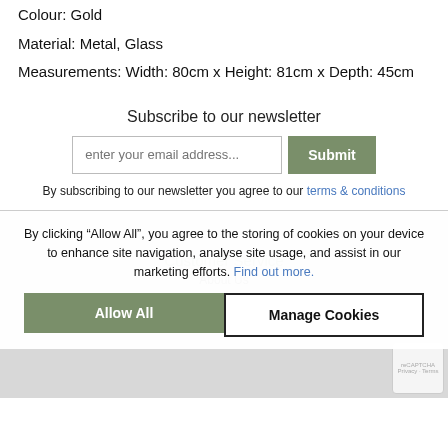Colour: Gold
Material: Metal, Glass
Measurements: Width: 80cm x Height: 81cm x Depth: 45cm
Subscribe to our newsletter
enter your email address...
Submit
By subscribing to our newsletter you agree to our terms & conditions
By clicking “Allow All”, you agree to the storing of cookies on your device to enhance site navigation, analyse site usage, and assist in our marketing efforts. Find out more.
Allow All
Manage Cookies
Customer Service
About Us